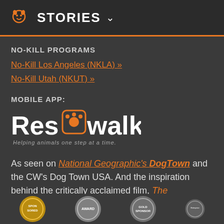STORIES
NO-KILL PROGRAMS
No-Kill Los Angeles (NKLA) »
No-Kill Utah (NKUT) »
MOBILE APP:
[Figure (logo): ResQwalk logo with paw print icon. Text reads: ResQwalk - Helping animals one step at a time.]
As seen on National Geographic's DogTown and the CW's Dog Town USA. And the inspiration behind the critically acclaimed film, The Champions.
[Figure (logo): Row of sponsor/award badges at bottom of page]